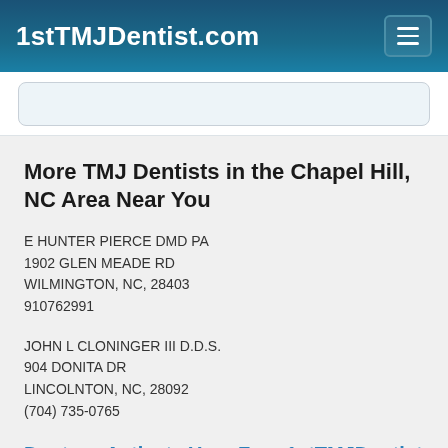1stTMJDentist.com
More TMJ Dentists in the Chapel Hill, NC Area Near You
E HUNTER PIERCE DMD PA
1902 GLEN MEADE RD
WILMINGTON, NC, 28403
910762991
JOHN L CLONINGER III D.D.S.
904 DONITA DR
LINCOLNTON, NC, 28092
(704) 735-0765
Doctor - Activate Your Free 1stTMJDentist Directory Listing
A Briter Smile Dental Group, D.D.S.